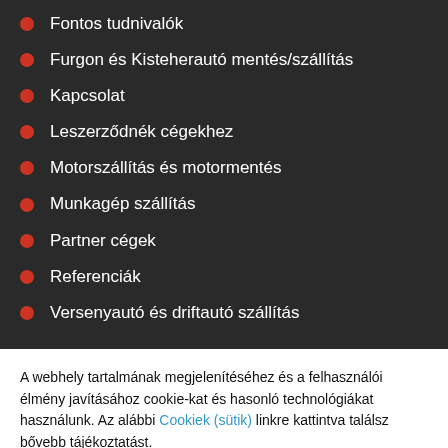Fontos tudnivalók
Furgon és Kisteherautó mentés/szállítás
Kapcsolat
Leszerződnék cégekhez
Motorszállítás és motormentés
Munkagép szállítás
Partner cégek
Referenciák
Versenyautó és driftautó szállítás
A webhely tartalmának megjelenítéséhez és a felhasználói élmény javításához cookie-kat és hasonló technológiákat használunk. Az alábbi Cookiek (sütik) linkre kattintva találsz bővebb tájékoztatást.
Cookie beállítása | Elfogadom